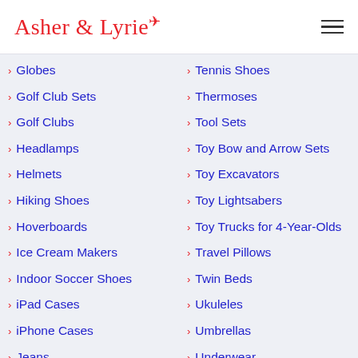Asher & Lyrie
Globes
Golf Club Sets
Golf Clubs
Headlamps
Helmets
Hiking Shoes
Hoverboards
Ice Cream Makers
Indoor Soccer Shoes
iPad Cases
iPhone Cases
Jeans
Kayaks
Tennis Shoes
Thermoses
Tool Sets
Toy Bow and Arrow Sets
Toy Excavators
Toy Lightsabers
Toy Trucks for 4-Year-Olds
Travel Pillows
Twin Beds
Ukuleles
Umbrellas
Underwear